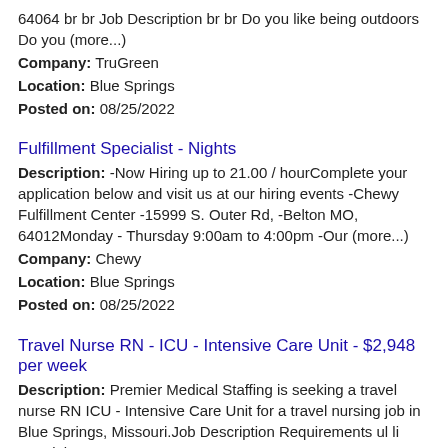64064 br br Job Description br br Do you like being outdoors Do you (more...)
Company: TruGreen
Location: Blue Springs
Posted on: 08/25/2022
Fulfillment Specialist - Nights
Description: -Now Hiring up to 21.00 / hourComplete your application below and visit us at our hiring events -Chewy Fulfillment Center -15999 S. Outer Rd, -Belton MO, 64012Monday - Thursday 9:00am to 4:00pm -Our (more...)
Company: Chewy
Location: Blue Springs
Posted on: 08/25/2022
Travel Nurse RN - ICU - Intensive Care Unit - $2,948 per week
Description: Premier Medical Staffing is seeking a travel nurse RN ICU - Intensive Care Unit for a travel nursing job in Blue Springs, Missouri.Job Description Requirements ul li Specialty: ICU
Company: Premier Medical Staffing
Location: Blue Springs
Posted on: 08/25/2022